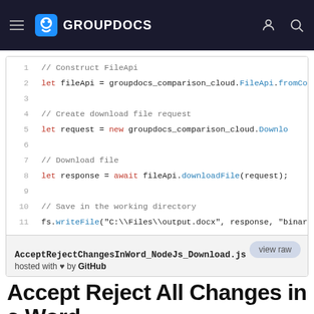GROUPDOCS
[Figure (screenshot): Code block showing Node.js JavaScript code with line numbers 1-11. Lines show: 1: // Construct FileApi, 2: let fileApi = groupdocs_comparison_cloud.FileApi.fromCo..., 3: (empty), 4: // Create download file request, 5: let request = new groupdocs_comparison_cloud.Downlo..., 6: (empty), 7: // Download file, 8: let response = await fileApi.downloadFile(request);, 9: (empty), 10: // Save in the working directory, 11: fs.writeFile("C:\\Files\\output.docx", response, "binary", fu... Footer shows: view raw, AcceptRejectChangesInWord_NodeJs_Download.js, hosted with heart by GitHub]
Accept Reject All Changes in a Word